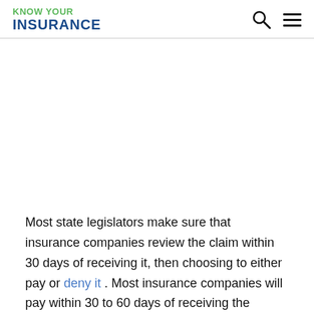KNOW YOUR INSURANCE
Most state legislators make sure that insurance companies review the claim within 30 days of receiving it, then choosing to either pay or deny it . Most insurance companies will pay within 30 to 60 days of receiving the